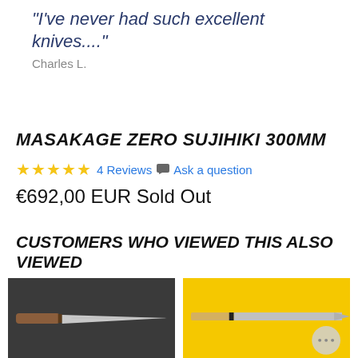"I've never had such excellent knives...."
Charles L.
MASAKAGE ZERO SUJIHIKI 300MM
★★★★★ 4 Reviews  Ask a question
€692,00 EUR Sold Out
CUSTOMERS WHO VIEWED THIS ALSO VIEWED
[Figure (photo): Japanese chef knife with wooden handle on dark grey background]
[Figure (photo): Japanese knife on yellow background with chat bubble overlay]